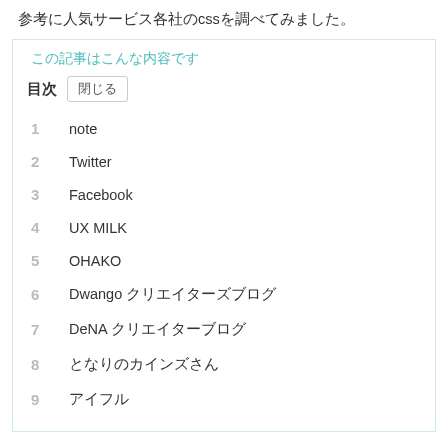参考に人気サービス各社のcssを調べてみました。
この記事はこんな内容です
1  note
2  Twitter
3  Facebook
4  UX MILK
5  OHAKO
6  Dwango クリエイターズブログ
7  DeNA クリエイターブログ
8  となりのカインズさん
9  アイフル